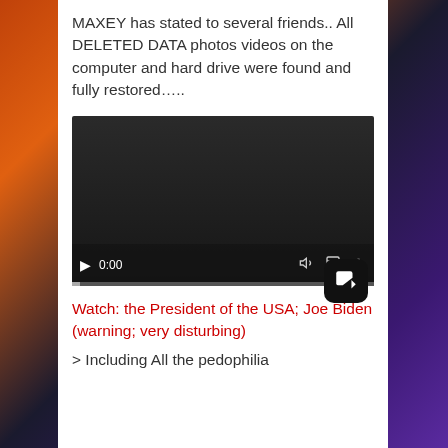MAXEY has stated to several friends.. All DELETED DATA photos videos on the computer and hard drive were found and fully restored…..
[Figure (screenshot): Embedded video player showing a dark/black video screen with playback controls: play button, time display 0:00, volume icon, fullscreen icon, and options menu icon. Progress bar at bottom.]
Watch: the President of the USA; Joe Biden (warning; very disturbing)
> Including All the pedophilia